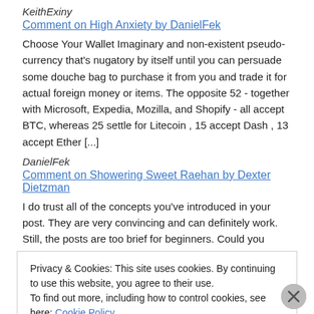KeithExiny
Comment on High Anxiety by DanielFek
Choose Your Wallet Imaginary and non-existent pseudo-currency that's nugatory by itself until you can persuade some douche bag to purchase it from you and trade it for actual foreign money or items. The opposite 52 - together with Microsoft, Expedia, Mozilla, and Shopify - all accept BTC, whereas 25 settle for Litecoin , 15 accept Dash , 13 accept Ether [...]
DanielFek
Comment on Showering Sweet Raehan by Dexter Dietzman
I do trust all of the concepts you've introduced in your post. They are very convincing and can definitely work. Still, the posts are too brief for beginners. Could you please lengthen them a little from subsequent
Privacy & Cookies: This site uses cookies. By continuing to use this website, you agree to their use.
To find out more, including how to control cookies, see here: Cookie Policy
Close and accept